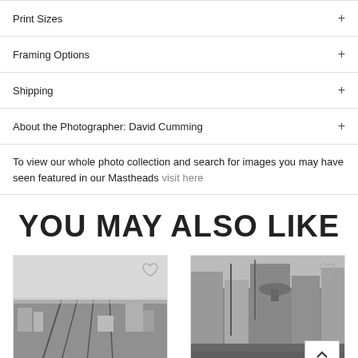Print Sizes +
Framing Options +
Shipping +
About the Photographer: David Cumming +
To view our whole photo collection and search for images you may have seen featured in our Mastheads visit here
YOU MAY ALSO LIKE
[Figure (photo): Black and white aerial photo of a city with railway lines]
[Figure (photo): Black and white street-level photo of a busy city with crowds and large signage]